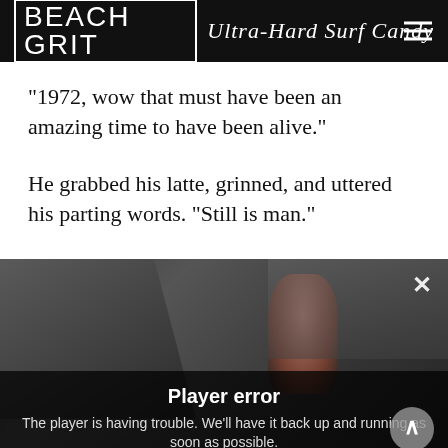BEACH GRIT Ultra-Hard Surf Candy
“1972, wow that must have been an amazing time to have been alive.”
He grabbed his latte, grinned, and uttered his parting words. “Still is man.”
[Figure (screenshot): Video player screenshot showing a person near a car outdoors in winter, with a Player error overlay message: 'The player is having trouble. We’ll have it back up and running as soon as possible.' A close X button is visible top right, and a scroll-up arrow button on the right side. A bottom ad bar with a close X is partially visible.]